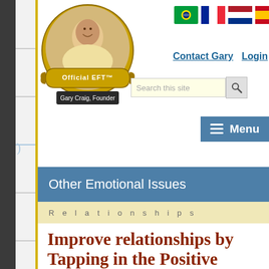[Figure (logo): Official EFT Gary Craig Founder logo with circular portrait photo and gold banner]
[Figure (infographic): Row of five national flag icons: Brazil, France, Netherlands, Spain, Italy]
Contact Gary   Login
[Figure (screenshot): Search this site input box with magnifying glass button]
[Figure (infographic): Menu button with hamburger icon]
Other Emotional Issues
Relationships
Improve relationships by Tapping in the Positive
Important Note: This article was written prior to